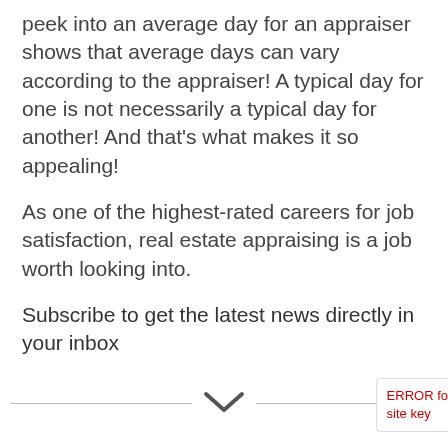peek into an average day for an appraiser shows that average days can vary according to the appraiser! A typical day for one is not necessarily a typical day for another! And that's what makes it so appealing!
As one of the highest-rated careers for job satisfaction, real estate appraising is a job worth looking into.
Subscribe to get the latest news directly in your inbox
[Figure (other): Horizontal divider line with a downward chevron arrow in the center]